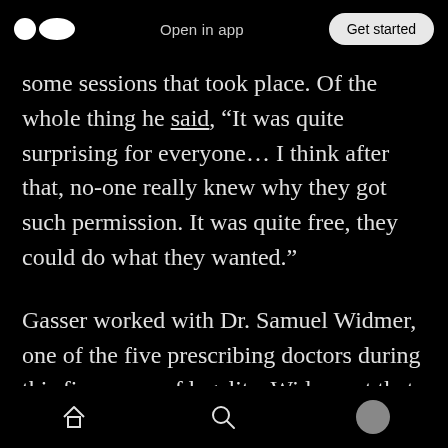Open in app  Get started
some sessions that took place. Of the whole thing he said, “It was quite surprising for everyone… I think after that, no-one really knew why they got such permission. It was quite free, they could do what they wanted.”
Gasser worked with Dr. Samuel Widmer, one of the five prescribing doctors during this five years of legality. Widmer at that time was able to write prescriptions for both LSD and MDMA. It only lasted five years though, with the government shutting down the program in 1993. Subsequent
Home  Search  Profile